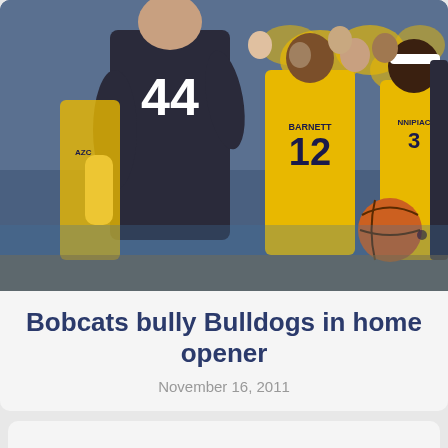[Figure (photo): Basketball game photo showing Quinnipiac players in yellow jerseys (numbers 12 and 3 visible) and an opposing player in dark jersey number 44, with fans in background]
Bobcats bully Bulldogs in home opener
November 16, 2011
Quinnipiac men’s soccer clipped by Mountaineers in double overtime
October 24, 2011